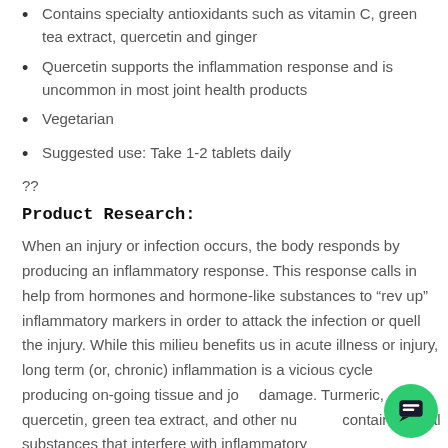Contains specialty antioxidants such as vitamin C, green tea extract, quercetin and ginger
Quercetin supports the inflammation response and is uncommon in most joint health products
Vegetarian
Suggested use: Take 1-2 tablets daily
??
Product Research:
When an injury or infection occurs, the body responds by producing an inflammatory response. This response calls in help from hormones and hormone-like substances to “rev up” inflammatory markers in order to attack the infection or quell the injury. While this milieu benefits us in acute illness or injury, long term (or, chronic) inflammation is a vicious cycle producing on-going tissue and joint damage. Turmeric, quercetin, green tea extract, and other nutrients contain natural substances that interfere with inflammatory